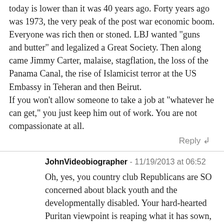today is lower than it was 40 years ago. Forty years ago was 1973, the very peak of the post war economic boom. Everyone was rich then or stoned. LBJ wanted "guns and butter" and legalized a Great Society. Then along came Jimmy Carter, malaise, stagflation, the loss of the Panama Canal, the rise of Islamicist terror at the US Embassy in Teheran and then Beirut.
If you won't allow someone to take a job at "whatever he can get," you just keep him out of work. You are not compassionate at all.
Reply ↲
JohnVideobiographer - 11/19/2013 at 06:52
Oh, yes, you country club Republicans are SO concerned about black youth and the developmentally disabled. Your hard-hearted Puritan viewpoint is reaping what it has sown, the Tea Party. Their demagogic leadership has pushed this country to the brink and shown to the world America's